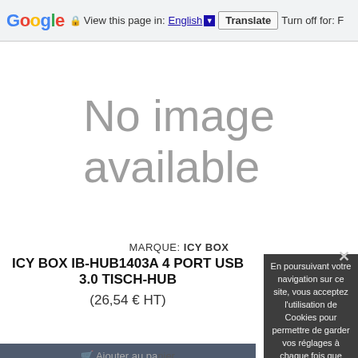Google  View this page in: English [▼]  Translate  Turn off for: F
[Figure (other): No image available placeholder text on white background]
MARQUE: ICY BOX
ICY BOX IB-HUB1403A 4 PORT USB 3.0 TISCH-HUB
(26,54 € HT)
En poursuivant votre navigation sur ce site, vous acceptez l'utilisation de Cookies pour permettre de garder vos réglages à chaque fois que venez. Les cookies nous permettent aussi de réaliser des statistiques de visites. En savoir plus.
Accepter
Ajouter au panier